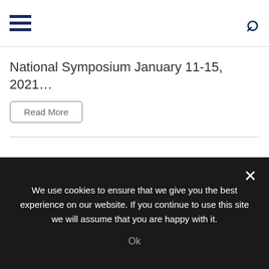Navigation bar with hamburger menu and search icon
National Symposium January 11-15, 2021…
Read More
Advertisement
[Figure (photo): Maritime Security advertisement banner with bold blue text on a cloudy sky background]
We use cookies to ensure that we give you the best experience on our website. If you continue to use this site we will assume that you are happy with it.
Ok